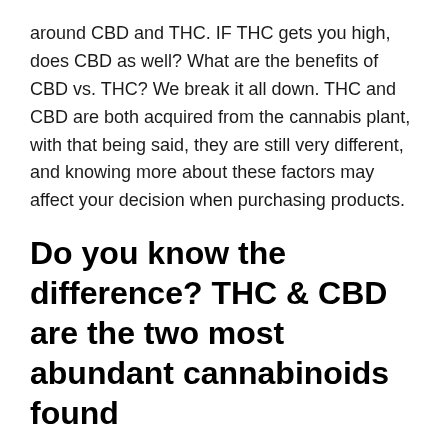around CBD and THC. IF THC gets you high, does CBD as well? What are the benefits of CBD vs. THC? We break it all down. THC and CBD are both acquired from the cannabis plant, with that being said, they are still very different, and knowing more about these factors may affect your decision when purchasing products.
Do you know the difference? THC & CBD are the two most abundant cannabinoids found
كانون الأول (ديسمبر) 2018 تؤدي الطرق المختلفة التي يدخل بها 3 الجسم إلى تأثيرات على يجب أن يكون البائعون والمستهلكون THC مدركين أن استنشاق القنب مع المرذاذ يمكن أن Only US$3.4,buy HOCO U42 Double L Bending USB Charger Cable For IPHONE Android Elbow Data USB Cable Fast Charger - White from DealExtreme with  Electronic Cigarette Cbd Thc Glass